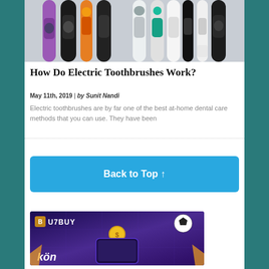[Figure (photo): Photo of multiple electric toothbrushes standing upright, various colors including black, purple, orange, and white, on a white background.]
How Do Electric Toothbrushes Work?
May 11th, 2019 | by Sunit Nandi
Electric toothbrushes are by far one of the best at-home dental care methods that you can use. They have been
Back to Top ↑
[Figure (photo): U7BUY advertisement banner with purple background, gold coin, smartphone, soccer ball, and stylized text.]